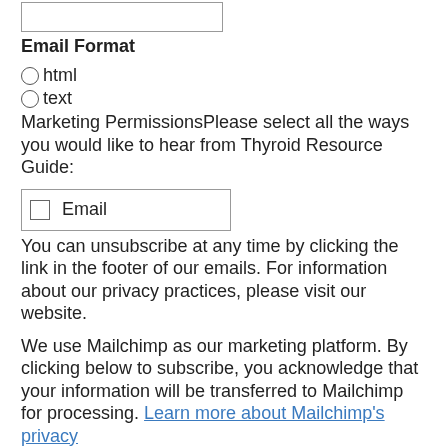Email Format
html
text
Marketing PermissionsPlease select all the ways you would like to hear from Thyroid Resource Guide:
Email
You can unsubscribe at any time by clicking the link in the footer of our emails. For information about our privacy practices, please visit our website.
We use Mailchimp as our marketing platform. By clicking below to subscribe, you acknowledge that your information will be transferred to Mailchimp for processing. Learn more about Mailchimp's privacy